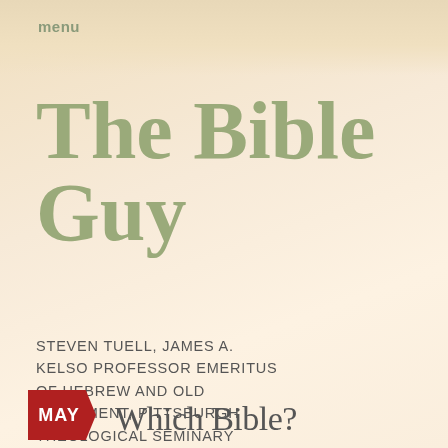menu
The Bible Guy
STEVEN TUELL, JAMES A. KELSO PROFESSOR EMERITUS OF HEBREW AND OLD TESTAMENT, PITTSBURGH THEOLOGICAL SEMINARY
MAY  Which Bible?